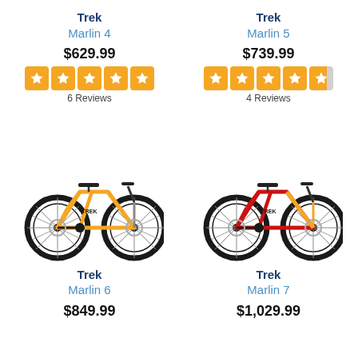Trek
Marlin 4
$629.99
6 Reviews
Trek
Marlin 5
$739.99
4 Reviews
[Figure (photo): Orange Trek Marlin 6 mountain bike on white background]
[Figure (photo): Red and orange Trek Marlin 7 mountain bike on white background]
Trek
Marlin 6
$849.99
Trek
Marlin 7
$1,029.99